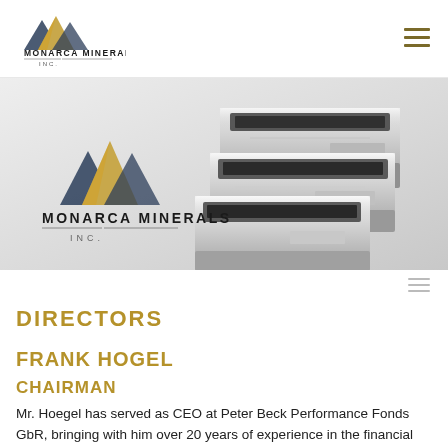MONARCA MINERALS INC.
[Figure (logo): Monarca Minerals Inc. company logo with stylized mountain peaks in gold and dark blue, silver mineral bars photo in background]
DIRECTORS
FRANK HOGEL
CHAIRMAN
Mr. Hoegel has served as CEO at Peter Beck Performance Fonds GbR, bringing with him over 20 years of experience in the financial sector. He is an Asset Manager actively involved in the